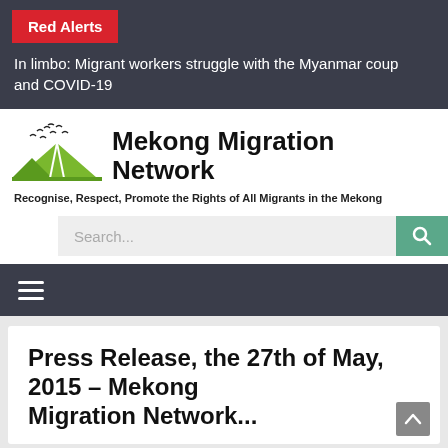Red Alerts
In limbo: Migrant workers struggle with the Myanmar coup and COVID-19
[Figure (logo): Mekong Migration Network logo with birds flying over green hills and a road]
Mekong Migration Network
Recognise, Respect, Promote the Rights of All Migrants in the Mekong
Search...
Press Release, the 27th of May, 2015 – Mekong Migration Network...